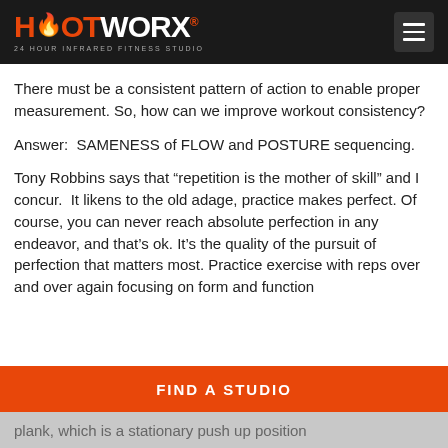HOTWORX. 24 HOUR INFRARED FITNESS STUDIO
There must be a consistent pattern of action to enable proper measurement. So, how can we improve workout consistency?
Answer:  SAMENESS of FLOW and POSTURE sequencing.
Tony Robbins says that “repetition is the mother of skill” and I concur.  It likens to the old adage, practice makes perfect. Of course, you can never reach absolute perfection in any endeavor, and that’s ok. It’s the quality of the pursuit of perfection that matters most. Practice exercise with reps over and over again focusing on form and function
plank, which is a stationary push up position